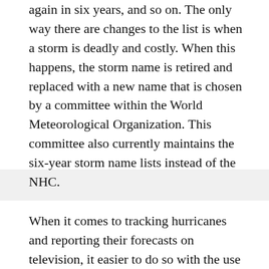again in six years, and so on. The only way there are changes to the list is when a storm is deadly and costly. When this happens, the storm name is retired and replaced with a new name that is chosen by a committee within the World Meteorological Organization. This committee also currently maintains the six-year storm name lists instead of the NHC.
When it comes to tracking hurricanes and reporting their forecasts on television, it easier to do so with the use of short and distinctive names. This is especially true during an active season when there are multiple hurricanes to track and discuss at the same time. These names also bring more attention to